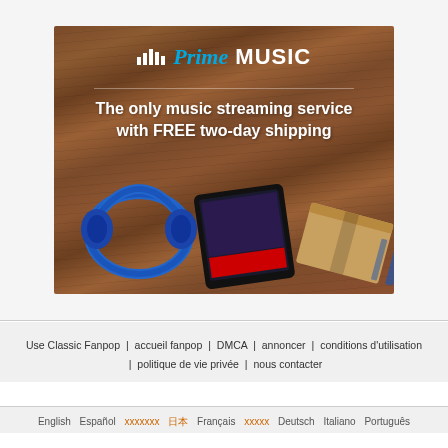[Figure (infographic): Amazon Prime Music advertisement banner on a wood floor background. Shows headphones, a tablet running Prime Music, and an Amazon shipping box. Text reads 'Prime music - The only music streaming service with FREE two-day shipping']
Use Classic Fanpop | accueil fanpop | DMCA | annoncer | conditions d'utilisation | politique de vie privée | nous contacter
English  Español  xxxxxx  日本  Français  xxxxx  Deutsch  Italiano  Português